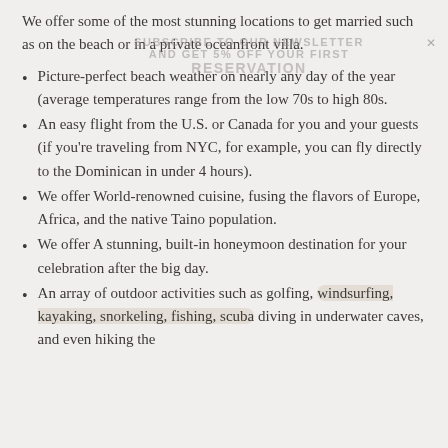We offer some of the most stunning locations to get married such as on the beach or in a private oceanfront villa.
Picture-perfect beach weather on nearly any day of the year (average temperatures range from the low 70s to high 80s.
An easy flight from the U.S. or Canada for you and your guests (if you’re traveling from NYC, for example, you can fly directly to the Dominican in under 4 hours).
We offer World-renowned cuisine, fusing the flavors of Europe, Africa, and the native Taino population.
We offer A stunning, built-in honeymoon destination for your celebration after the big day.
An array of outdoor activities such as golfing, windsurfing, kayaking, snorkeling, fishing, scuba diving in underwater caves, and even hiking the